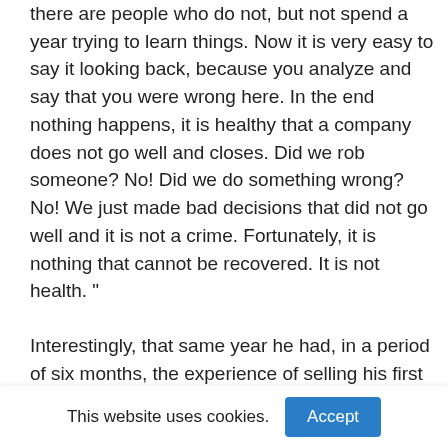there are people who do not, but not spend a year trying to learn things. Now it is very easy to say it looking back, because you analyze and say that you were wrong here. In the end nothing happens, it is healthy that a company does not go well and closes. Did we rob someone? No! Did we do something wrong? No! We just made bad decisions that did not go well and it is not a crime. Fortunately, it is nothing that cannot be recovered. It is not health. ”
Interestingly, that same year he had, in a period of six months, the experience of selling his first company and closing the second.
“I experienced the best and the worst situation of an entrepreneur: a company was acquired and another
This website uses cookies.